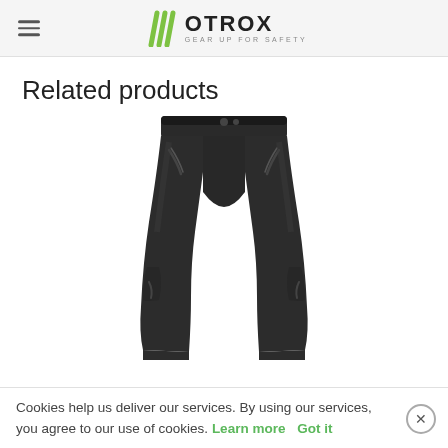OTROX GEAR UP FOR SAFETY
Related products
[Figure (photo): Black leather motorcycle pants displayed on a white background, showing the waist, pockets with zipper details, and knees down to mid-calf.]
Cookies help us deliver our services. By using our services, you agree to our use of cookies. Learn more  Got it
Kick Leather Pant Dominate Motorcycle Wear by Motrox